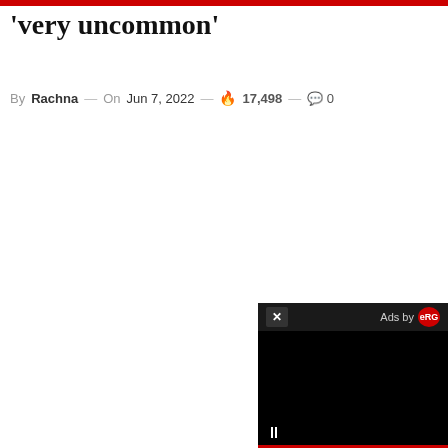'very uncommon'
By Rachna — On Jun 7, 2022 — 🔥 17,498 — 💬 0
[Figure (screenshot): Embedded video ad overlay in bottom-right corner with close button (×), 'Ads by eRG' label, black video content area, pause button (⏸), and red progress bar at bottom.]